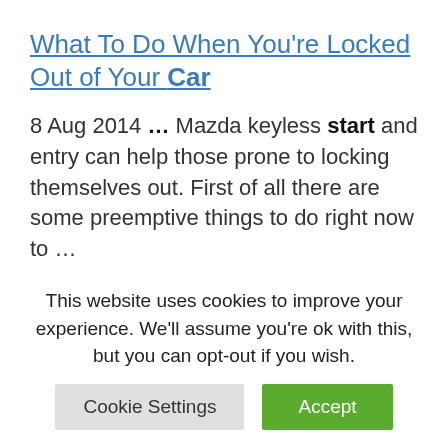What To Do When You're Locked Out of Your Car
8 Aug 2014 … Mazda keyless start and entry can help those prone to locking themselves out. First of all there are some preemptive things to do right now to …
How to Dry Out Your Wet Car in 3 Easy Steps
This website uses cookies to improve your experience. We'll assume you're ok with this, but you can opt-out if you wish.